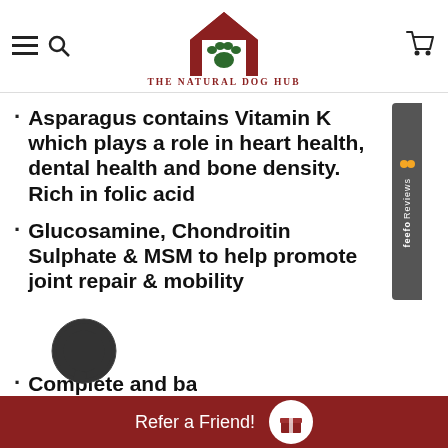THE NATURAL DOG HUB
Asparagus contains Vitamin K which plays a role in heart health, dental health and bone density. Rich in folic acid
Glucosamine, Chondroitin Sulphate & MSM to help promote joint repair & mobility
Complete and ba...